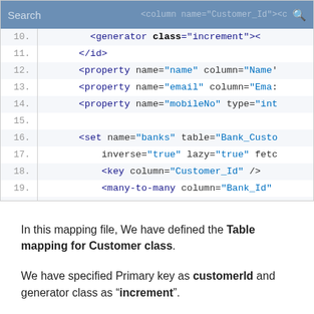[Figure (screenshot): Code editor screenshot showing XML/Hibernate mapping file lines 10-22 with a search bar overlay at the top]
In this mapping file, We have defined the Table mapping for Customer class.
We have specified Primary key as customerId and generator class as "increment".